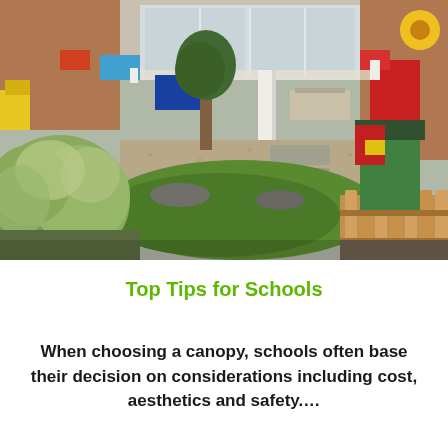[Figure (photo): Outdoor school garden/playground area showing a courtyard with gravel ground, green plants and shrubs on the left, a white pillar/canopy structure in the background, playground equipment including a red and yellow structure on the right, a wooden picket fence, and a brick building in the background.]
Top Tips for Schools
When choosing a canopy, schools often base their decision on considerations including cost, aesthetics and safety....